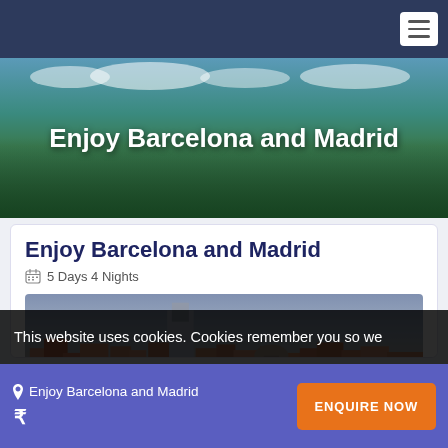Enjoy Barcelona and Madrid
Enjoy Barcelona and Madrid
5 Days 4 Nights
[Figure (photo): Panoramic aerial view of Madrid city skyline with historic buildings and rooftops under a cloudy sky]
This website uses cookies. Cookies remember you so we
Enjoy Barcelona and Madrid
₹
ENQUIRE NOW